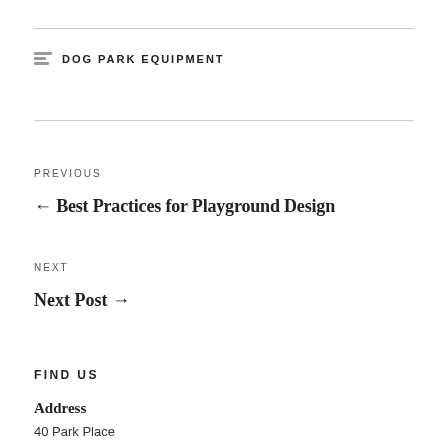DOG PARK EQUIPMENT
PREVIOUS
← Best Practices for Playground Design
NEXT
Next Post →
FIND US
Address
40 Park Place